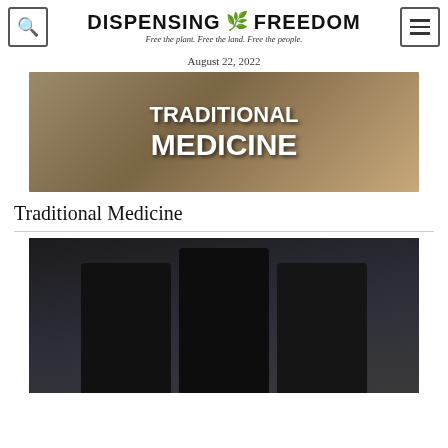DISPENSING ✿ FREEDOM — Free the plant. Free the land. Free the people.
August 22, 2022
[Figure (photo): Meme image with bold white text reading 'TRADITIONAL MEDICINE' overlaid on a photo of a person holding something, with earthy desert-toned background.]
Traditional Medicine
[Figure (photo): Photo of three figures dressed in black tactical gear including masks, helmets, and body armor, carrying weapons, against a blurred light background.]